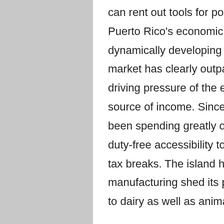can rent out tools for points like snorkeling and diving. Puerto Rico's economic situation is among the most dynamically developing in the Caribbean. The varied market has clearly outpaced agriculture as the major driving pressure of the economic climate and also a source of income. Since the 1950s, American firms have been spending greatly on the island, encouraged by duty-free accessibility to the United States market and tax breaks. The island has US base pay laws. Sugar manufacturing shed its prominent placement in farming to dairy as well as animals manufacturing.